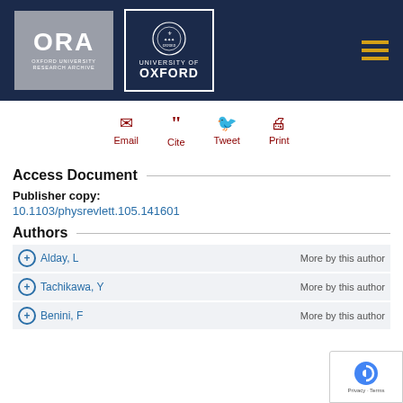[Figure (logo): ORA Oxford University Research Archive logo and University of Oxford logo on dark navy header bar with hamburger menu icon]
[Figure (infographic): Action bar with Email, Cite, Tweet, Print icons in dark red]
Access Document
Publisher copy:
10.1103/physrevlett.105.141601
Authors
Alday, L   More by this author
Tachikawa, Y   More by this author
Benini, F   More by this author
This website uses cookies to ensure you get the best possible experience. Learn more
Bibliographic Details
Item Description